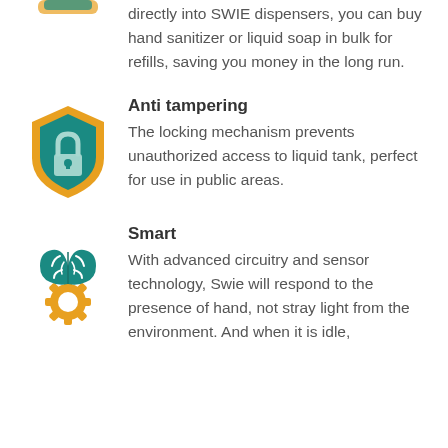directly into SWIE dispensers, you can buy hand sanitizer or liquid soap in bulk for refills, saving you money in the long run.
[Figure (illustration): Teal and orange shield icon with a padlock symbol inside]
Anti tampering
The locking mechanism prevents unauthorized access to liquid tank, perfect for use in public areas.
[Figure (illustration): Teal brain icon sitting on an orange gear/cog icon, representing smart technology]
Smart
With advanced circuitry and sensor technology, Swie will respond to the presence of hand, not stray light from the environment. And when it is idle,